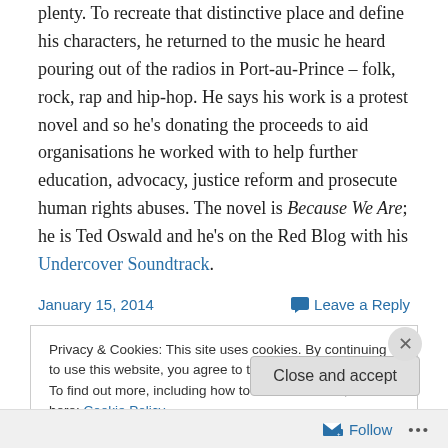plenty. To recreate that distinctive place and define his characters, he returned to the music he heard pouring out of the radios in Port-au-Prince – folk, rock, rap and hip-hop. He says his work is a protest novel and so he's donating the proceeds to aid organisations he worked with to help further education, advocacy, justice reform and prosecute human rights abuses. The novel is Because We Are; he is Ted Oswald and he's on the Red Blog with his Undercover Soundtrack.
January 15, 2014
Leave a Reply
Privacy & Cookies: This site uses cookies. By continuing to use this website, you agree to their use. To find out more, including how to control cookies, see here: Cookie Policy
Close and accept
Follow ...